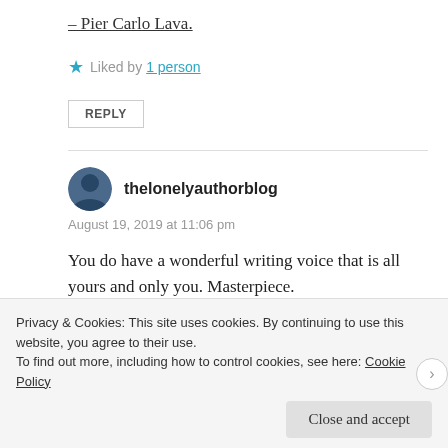– Pier Carlo Lava.
★ Liked by 1 person
REPLY
thelonelyauthorblog
August 19, 2019 at 11:06 pm
You do have a wonderful writing voice that is all yours and only you. Masterpiece.
★ Liked by 2 people
Privacy & Cookies: This site uses cookies. By continuing to use this website, you agree to their use. To find out more, including how to control cookies, see here: Cookie Policy
Close and accept